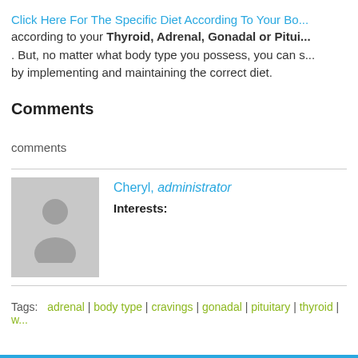Click Here For The Specific Diet According To Your Bo... according to your Thyroid, Adrenal, Gonadal or Pitui... . But, no matter what body type you possess, you can s... by implementing and maintaining the correct diet.
Comments
comments
Cheryl, administrator
Interests:
Tags:   adrenal | body type | cravings | gonadal | pituitary | thyroid | w...